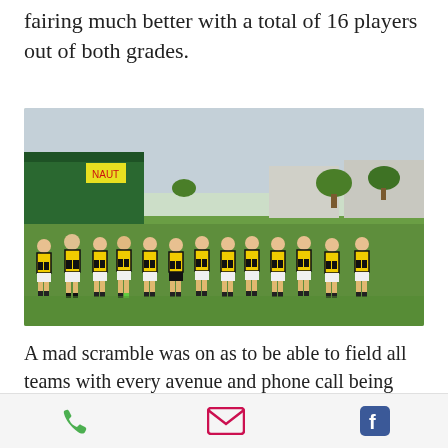fairing much better with a total of 16 players out of both grades.
[Figure (photo): A group of approximately 13 Australian football players wearing yellow and black striped jerseys walking on a green oval/field. Industrial buildings and trees are visible in the background.]
A mad scramble was on as to be able to field all teams with every avenue and phone call being made to secure numbers. A number of players showed their true passion for the
Phone | Email | Facebook